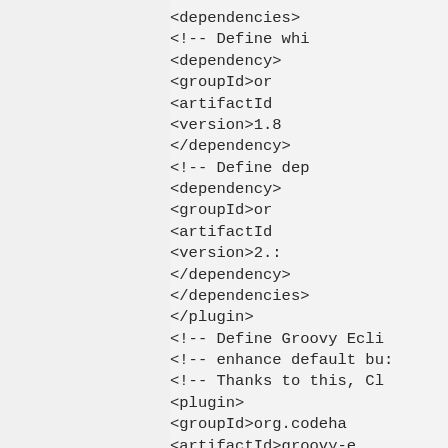<dependencies>
    <!-- Define whi
    <dependency>
        <groupId>or<
        <artifactId:
        <version>1.8
    </dependency>
    <!-- Define dep
    <dependency>
        <groupId>or<
        <artifactId:
        <version>2.:
    </dependency>
    </dependencies>
</plugin>
<!-- Define Groovy Ecli
<!-- enhance default bu:
<!-- Thanks to this, Cl<
<plugin>
    <groupId>org.codeha<
    <artifactId>groovy-e
    <version>0.7.0-01+...